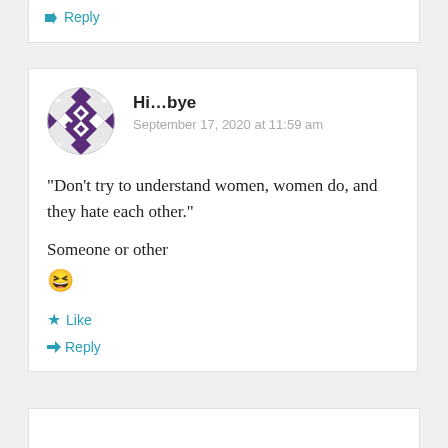↳ Reply
Hi...bye
September 17, 2020 at 11:59 am
“Don’t try to understand women, women do, and they hate each other.”
Someone or other
😆
★ Like
↳ Reply